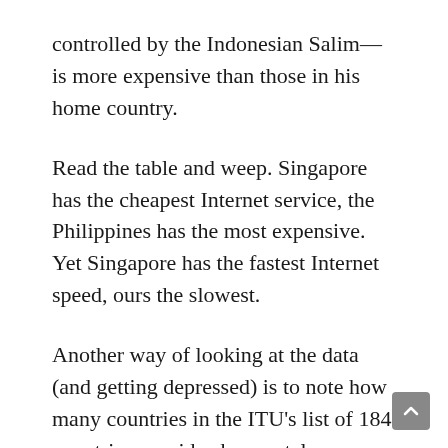controlled by the Indonesian Salim—is more expensive than those in his home country.
Read the table and weep. Singapore has the cheapest Internet service, the Philippines has the most expensive. Yet Singapore has the fastest Internet speed, ours the slowest.
Another way of looking at the data (and getting depressed) is to note how many countries in the ITU's list of 184 countries provide cheaper telecom services than us.
For mobile cellular prices, there are 120 countries in the world that have cheaper rates than us: for fixed broadband, 125 other countries; and mobile